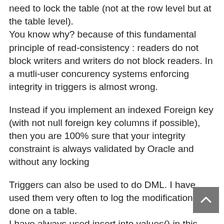need to lock the table (not at the row level but at the table level).
You know why? because of this fundamental principle of read-consistency : readers do not block writers and writers do not block readers. In a mutli-user concurency systems enforcing integrity in triggers is almost wrong.
Instead if you implement an indexed Foreign key (with not null foreign key columns if possible), then you are 100% sure that your integrity constraint is always validated by Oracle and without any locking
Triggers can also be used to do DML. I have used them very often to log the modifications done on a table.
I have always used insert into values() in this audit triggers.
Regards